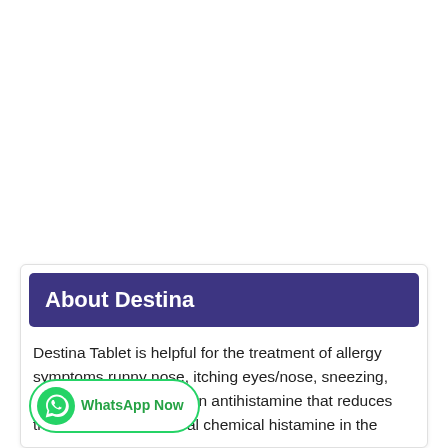About Destina
Destina Tablet is helpful for the treatment of allergy symptoms runny nose, itching eyes/nose, sneezing, hives, and itching. It is an antihistamine that reduces the effects of the natural chemical histamine in the